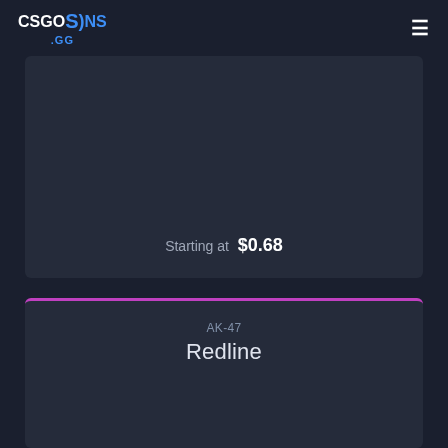CSGOSKINS .GG
[Figure (screenshot): Dark card area showing a CS:GO skin product with text 'Starting at $0.68']
Starting at $0.68
AK-47
Redline